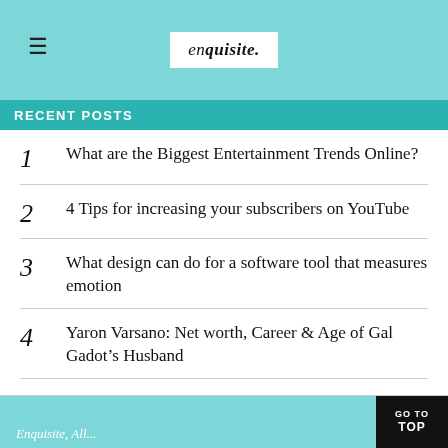enquisite.
RECENT POSTS
1 What are the Biggest Entertainment Trends Online?
2 4 Tips for increasing your subscribers on YouTube
3 What design can do for a software tool that measures emotion
4 Yaron Varsano: Net worth, Career & Age of Gal Gadot’s Husband
5 Hulu vs Vudu vs Sling: Which streaming service is the best?
Enquisite, All...